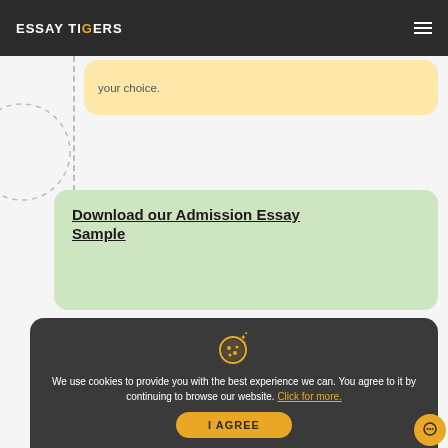ESSAY TIGERS
your choice.
Download our Admission Essay Sample
We use cookies to provide you with the best experience we can. You agree to it by continuing to browse our website. Click for more.
I AGREE